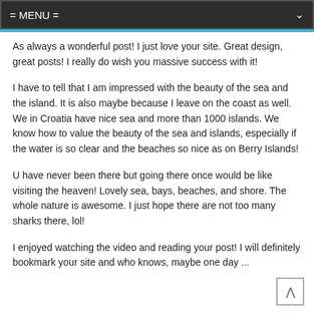= MENU =
As always a wonderful post! I just love your site. Great design, great posts! I really do wish you massive success with it!
I have to tell that I am impressed with the beauty of the sea and the island. It is also maybe because I leave on the coast as well. We in Croatia have nice sea and more than 1000 islands. We know how to value the beauty of the sea and islands, especially if the water is so clear and the beaches so nice as on Berry Islands!
U have never been there but going there once would be like visiting the heaven! Lovely sea, bays, beaches, and shore. The whole nature is awesome. I just hope there are not too many sharks there, lol!
I enjoyed watching the video and reading your post! I will definitely bookmark your site and who knows, maybe one day ...